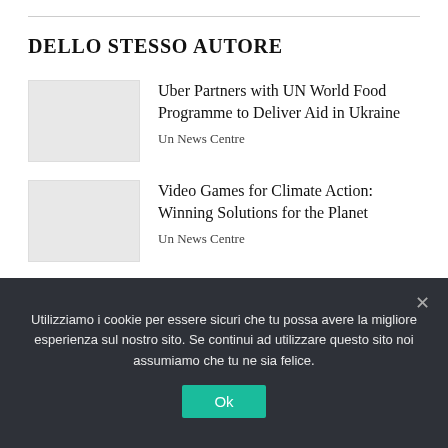DELLO STESSO AUTORE
[Figure (photo): Thumbnail image placeholder for article 1]
Uber Partners with UN World Food Programme to Deliver Aid in Ukraine
Un News Centre
[Figure (photo): Thumbnail image placeholder for article 2]
Video Games for Climate Action: Winning Solutions for the Planet
Un News Centre
Utilizziamo i cookie per essere sicuri che tu possa avere la migliore esperienza sul nostro sito. Se continui ad utilizzare questo sito noi assumiamo che tu ne sia felice.